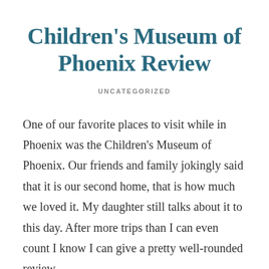Children's Museum of Phoenix Review
UNCATEGORIZED
One of our favorite places to visit while in Phoenix was the Children's Museum of Phoenix. Our friends and family jokingly said that it is our second home, that is how much we loved it. My daughter still talks about it to this day. After more trips than I can even count I know I can give a pretty well-rounded review,